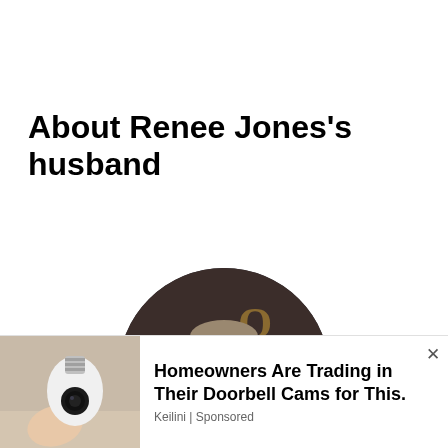About Renee Jones's husband
[Figure (photo): Circular portrait photo of John Grisham in a suit and tie, with a woman partially visible to his left, at what appears to be a formal event with signage in the background.]
John Grisham
[Figure (photo): Advertisement image showing a light-bulb shaped security camera device held in a hand.]
Homeowners Are Trading in Their Doorbell Cams for This.
Keilini | Sponsored